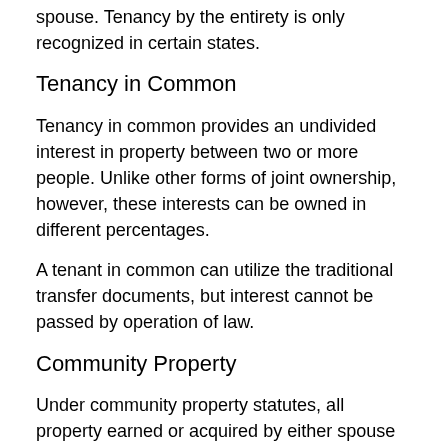spouse. Tenancy by the entirety is only recognized in certain states.
Tenancy in Common
Tenancy in common provides an undivided interest in property between two or more people. Unlike other forms of joint ownership, however, these interests can be owned in different percentages.
A tenant in common can utilize the traditional transfer documents, but interest cannot be passed by operation of law.
Community Property
Under community property statutes, all property earned or acquired by either spouse while they are married is owned in equal shares by each spouse. The essential principle of community property is that the earnings of either husband or wife and the revenue from their community property belong not to the producer but to the community of the husband and wife.